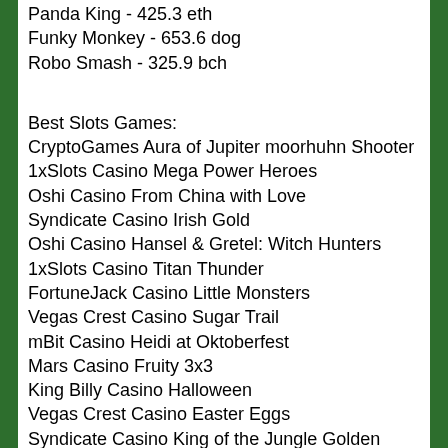Panda King - 425.3 eth
Funky Monkey - 653.6 dog
Robo Smash - 325.9 bch
Best Slots Games:
CryptoGames Aura of Jupiter moorhuhn Shooter
1xSlots Casino Mega Power Heroes
Oshi Casino From China with Love
Syndicate Casino Irish Gold
Oshi Casino Hansel & Gretel: Witch Hunters
1xSlots Casino Titan Thunder
FortuneJack Casino Little Monsters
Vegas Crest Casino Sugar Trail
mBit Casino Heidi at Oktoberfest
Mars Casino Fruity 3x3
King Billy Casino Halloween
Vegas Crest Casino Easter Eggs
Syndicate Casino King of the Jungle Golden Nights